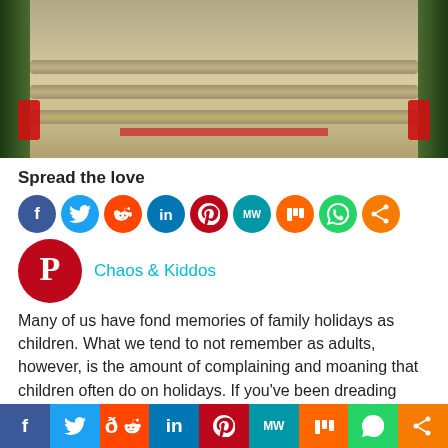[Figure (photo): Car trunk/rear view with beige/tan folded material or luggage, tail lights visible on sides, dark background foliage]
Spread the love
[Figure (infographic): Row of social media share icons: Facebook, Twitter, Reddit, LinkedIn, Pinterest, MeWe, Mix, WhatsApp, Share]
[Figure (logo): Large Pinterest logo circle with text Chaos & Kiddos in teal]
Many of us have fond memories of family holidays as children. What we tend to not remember as adults, however, is the amount of complaining and moaning that children often do on holidays. If you've been dreading taking the family on a trip because you're worried how they will behave, this guide is for you. Here are five simple
[Figure (infographic): Bottom bar with social sharing icons: Facebook, Twitter, Reddit, LinkedIn, Pinterest, MeWe, Mix, WhatsApp, Share]